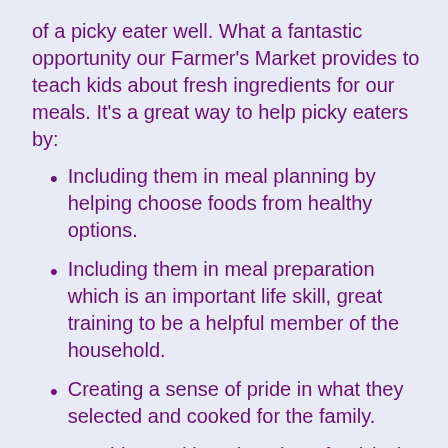of a picky eater well. What a fantastic opportunity our Farmer's Market provides to teach kids about fresh ingredients for our meals. It's a great way to help picky eaters by:
Including them in meal planning by helping choose foods from healthy options.
Including them in meal preparation which is an important life skill, great training to be a helpful member of the household.
Creating a sense of pride in what they selected and cooked for the family.
Teaching and learning about food (ask some of the Farmer's Market